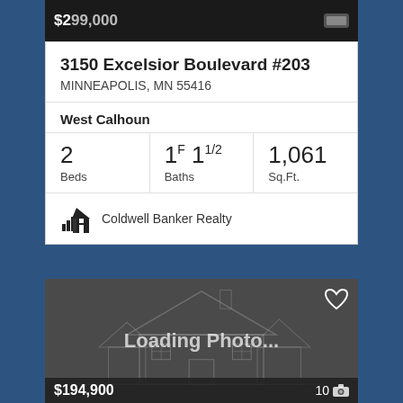[Figure (screenshot): Dark top image strip partially visible, showing price and controls]
3150 Excelsior Boulevard #203
MINNEAPOLIS, MN 55416
West Calhoun
| Beds | Baths | Sq.Ft. |
| --- | --- | --- |
| 2 | 1F 11/2 | 1,061 |
Coldwell Banker Realty
[Figure (photo): Loading Photo placeholder with house outline on dark background, $194,900 price and 10 photo count at bottom]